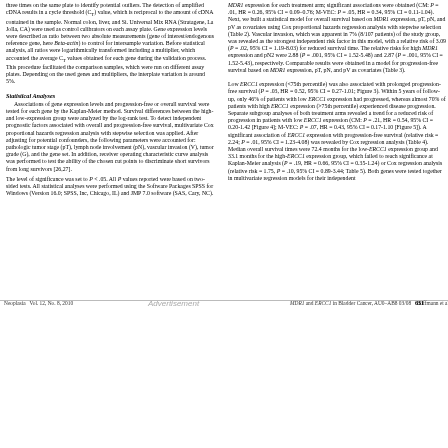three times on the same plate to identify potential outliers. The detection of amplified cDNA results in a cycle threshold (CT) value, which is reciprocal to the amount of cDNA contained in the sample. Normal colon, liver, and Si. Universal Mix RNA (Stratagene, La Jolla, CA) were used as control calibrators on each assay plate. Gene expression levels were described as ratio between two absolute measurements (gene of interest/endogenous reference gene, here Beta-actin) to control for intersample variation. Before statistical analysis, all ratios were logarithmically transformed including a multiplier, which accounted the average CT values obtained for each gene during the validation process. This procedure facilitated the comparison samples, which were run on different assay plates. Depending on the used genes and multipliers, the interplate variation is around 5%.
Statistical Analyses
Associations of gene expression levels and progression-free or overall survival were tested for each gene by the Kaplan-Meier method. Survival differences between the high- and low-expression group were analyzed by the log-rank test. To detect independent prognostic factors associated with overall and progression-free survival, multivariate Cox proportional hazards regression analysis with stepwise selection was applied. After adjusting for potential confounders, the following parameters were accounted for: pathologic tumor stage (pT), lymph node involvement (pN), vascular invasion (V), tumor grade (G), and the gene set. In addition, receiver operating characteristic curve analysis was performed to test the ability of the chosen cut points to discriminate short survivors from long survivors [26,27]. The level of significance was set to P < .05. All P values reported were based on two-sided tests. All statistical analyses were performed using the Software Packages SPSS for Windows (Version 16.0; SPSS, Inc, Chicago, IL) and JMP 7.0 software (SAS, Cary, NC).
MDR1 expression for each treatment arm; significant associations were obtained (CM: P = .01, HR = 0.26, 95% CI = 0.090.76; M-VEC: P = .05, HR = 0.34, 95% CI = 0.11-1.04). Next, we built a statistical model for overall survival based on MDR1 expression, pT, pN, and pV as covariates using Cox proportional hazards regression analysis with stepwise selection (Table 2). Vascular invasion, which was apparent in 7% (8/107 patients) of the study group, was revealed as the strongest independent risk factor in this model, with a relative risk of 3.09 (P = .02, 95% CI = 1.19-8.03) for reduced survival time. The relative risks for high MDR1 expression and pN2 were 2.88 (P = .001, 95% CI = 1.52-5.48) and 2.87 (P = .001, 95% CI = 1.52-5.43), respectively. Comparable results were obtained in a model for progression-free survival based on MDR1 expression, pT, pN, and pV as covariates (Table 3). Low ERCC1 expression (<75th percentile) was also associated with prolonged progression-free survival (P = .03, HR = 0.52, 95% CI = 0.27-1.01; Figure 3). Within 5 years of follow-up, only 46% of patients with low ERCC1 expression had progressed, whereas almost 70% of patients with high ERCC1 expression (>75th percentile) experienced disease progression. Separate subgroup analyses of both treatment arms revealed a trend for a reduced risk of progression in patients with low ERCC1 expression (CM: P = .21, HR = 0.54, 95% CI = 0.20-1.42 [Figure 4]; M-VEC: P = .07, HR = 0.43, 95% CI = 0.17-1.10 [Figure 5]). A significant association of ERCC1 expression with progression-free survival (relative risk = 2.24; P = .01, 95% CI = 1.23-4.08) was revealed by Cox regression analysis (Table 4). Median overall survival times were 72.4 months for the low-ERCC1 expression group and 33.1 months for the high-ERCC1 expression group, which failed to reach significance at Kaplan-Meier analysis (P = .19, HR = 0.66, 95% CI = 0.35-1.24) or Cox regression analysis (relative risk = 1.75, P = .10, 95% CI = 0.89-3.44; Table 5). Both genes were tested together in multivariate regression models for their independent
Neoplasia   Vol. 12, No. 8, 2010     MDR1 and ERCC1 in Bladder Cancer, AU0–AB8 03/08     Hoffmann et al.     631
[Figure (photo): Advertisement image showing laboratory/carrier plate products from ThermoFisher Scientific]
ThermoFisher SCIENTIFIC
The one-of-a-kind carrier plate